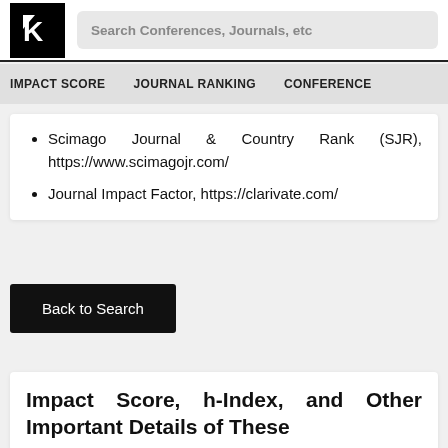Search Conferences, Journals, etc
IMPACT SCORE   JOURNAL RANKING   CONFERENCE
Scimago Journal & Country Rank (SJR), https://www.scimagojr.com/
Journal Impact Factor, https://clarivate.com/
Back to Search
Impact Score, h-Index, and Other Important Details of These